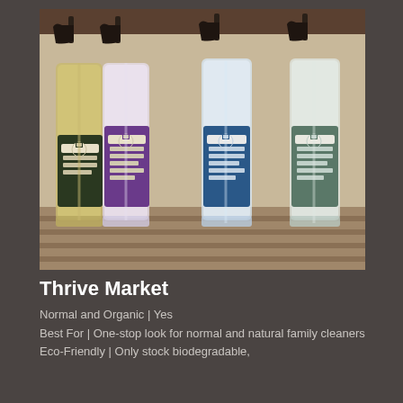[Figure (photo): Four large spray bottles of multi-surface disinfectant cleaners lined up on a wooden shelf against a light background. The bottles are transparent with coloured labels: dark green/yellow (Australian Style), purple (Lavender), blue (Eucalyptus), and grey/green (Mint). Each bottle has a black trigger spray top and a small house logo on the label.]
Thrive Market
Normal and Organic | Yes
Best For | One-stop look for normal and natural family cleaners
Eco-Friendly | Only stock biodegradable,